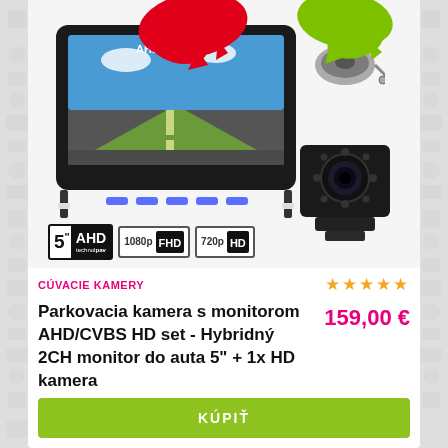[Figure (photo): Product photo showing a 5-inch AHD car monitor with rearview camera, cable reel, and spec badges (5" AHD, 1080p FHD, 720p HD). Red and green paint splats decorate the top.]
CÚVACIE KAMERY
★★★★★
Parkovacia kamera s monitorom AHD/CVBS HD set - Hybridný 2CH monitor do auta 5" + 1x HD kamera
159,00 €
KÚPIŤ